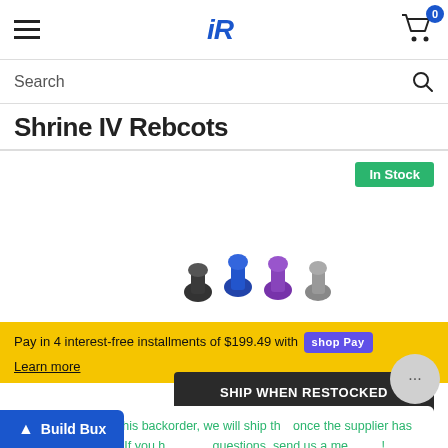iR — navigation header with hamburger menu and cart (0 items)
Search
Shrine IV Rebcots
In Stock
[Figure (photo): Product photo showing multiple small metallic valve/tip components in various colors (black, blue, purple, grey) and one larger red coiled spring component on the right]
Pay in 4 interest-free installments of $199.49 with Shop Pay
Learn more
SHIP WHEN RESTOCKED
By purchasing this backorder, we will ship this once the supplier has restocked. If you have any questions, send us a message!
Build Bux